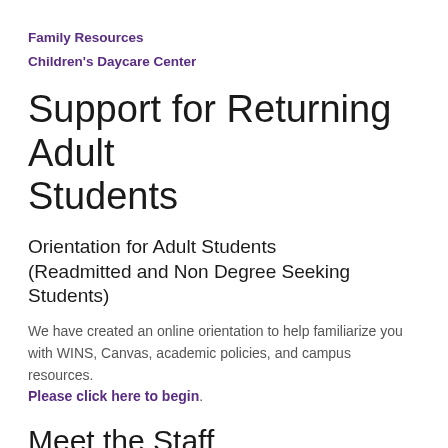Family Resources
Children's Daycare Center
Support for Returning Adult Students
Orientation for Adult Students (Readmitted and Non Degree Seeking Students)
We have created an online orientation to help familiarize you with WINS, Canvas, academic policies, and campus resources. Please click here to begin.
Meet the Staff